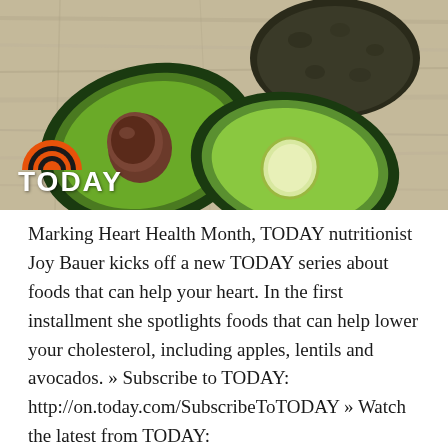[Figure (photo): Photograph of avocados on a wooden surface — one whole dark avocado and one avocado cut in half showing the pit and the green flesh, with the NBC TODAY show logo (orange rainbow arc above white bold text 'TODAY') overlaid in the lower-left corner.]
Marking Heart Health Month, TODAY nutritionist Joy Bauer kicks off a new TODAY series about foods that can help your heart. In the first installment she spotlights foods that can help lower your cholesterol, including apples, lentils and avocados. » Subscribe to TODAY: http://on.today.com/SubscribeToTODAY » Watch the latest from TODAY: